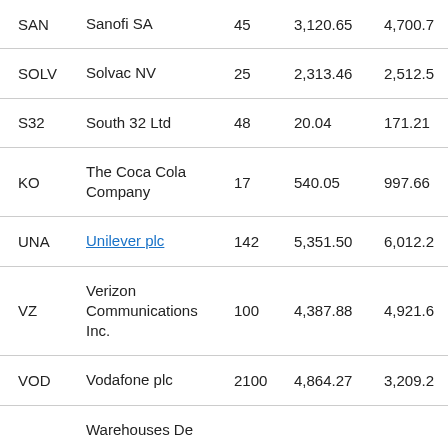| SAN | Sanofi SA | 45 | 3,120.65 | 4,700.7 |
| SOLV | Solvac NV | 25 | 2,313.46 | 2,512.5 |
| S32 | South 32 Ltd | 48 | 20.04 | 171.21 |
| KO | The Coca Cola Company | 17 | 540.05 | 997.66 |
| UNA | Unilever plc | 142 | 5,351.50 | 6,012.2 |
| VZ | Verizon Communications Inc. | 100 | 4,387.88 | 4,921.6 |
| VOD | Vodafone plc | 2100 | 4,864.27 | 3,209.2 |
|  | Warehouses De |  |  |  |